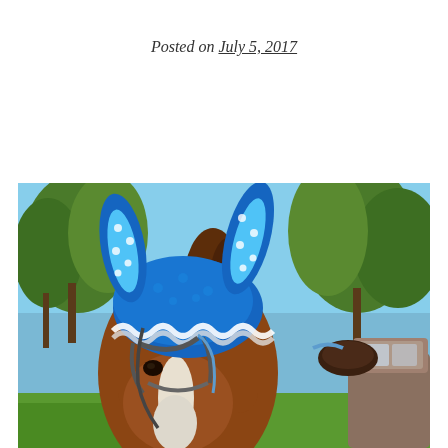Posted on July 5, 2017
[Figure (photo): A chestnut horse wearing a blue crocheted ear bonnet/fly veil with white polka-dot accents and bunny-like ears, photographed outdoors with green trees and blue sky in the background. The horse has a white blaze on its face and is wearing a bridle and saddle.]